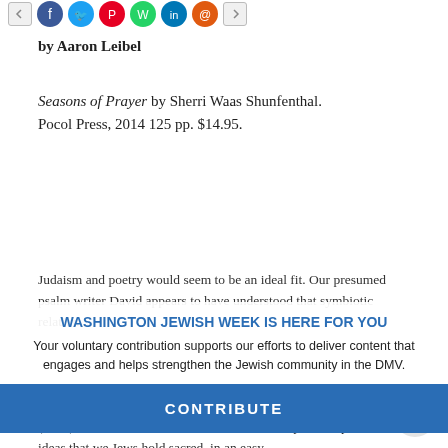[Figure (other): Social media share buttons row: back arrow, Facebook, Twitter, Pinterest, WhatsApp, LinkedIn, email/orange icon, forward arrow]
by Aaron Leibel
Seasons of Prayer by Sherri Waas Shunfenthal. Pocol Press, 2014 125 pp. $14.95.
Judaism and poetry would seem to be an ideal fit. Our presumed psalm writer David appears to have understood that symbiotic relation...
WASHINGTON JEWISH WEEK IS HERE FOR YOU
Your voluntary contribution supports our efforts to deliver content that engages and helps strengthen the Jewish community in the DMV.
CONTRIBUTE
Sacred Voices: Women of Genesis Speak (2000) and Youth Healing (2003) – both of which were reviewed in these pa... she presents the ideas that we Jews hold sacred, in an easy-...